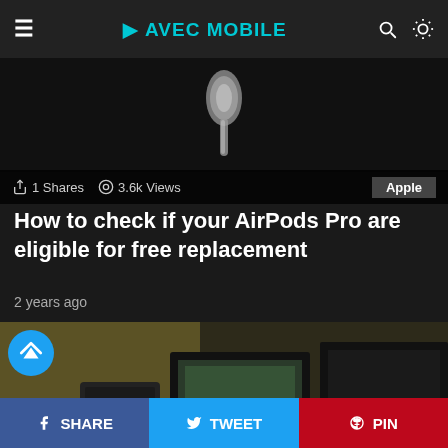☰ AVEC MOBILE
[Figure (photo): Dark background with a metallic AirPods Pro earpiece dropping/falling against black background]
1 Shares  3.6k Views  Apple
How to check if your AirPods Pro are eligible for free replacement
2 years ago
[Figure (photo): Person wearing black cap sitting at a multi-monitor setup with gaming/tech screens, viewed from behind/side. BuzzFeed arrow icon overlay in top-left corner.]
SHARE  TWEET  PIN